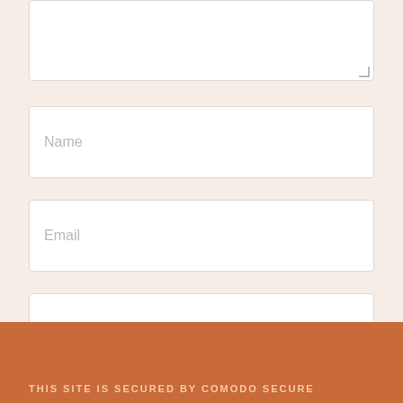[Figure (screenshot): Textarea input box (comment field), partially visible at top, with resize handle in bottom-right corner]
Name
Email
Website
Post Comment
This site uses Akismet to reduce spam. Learn how your comment data is processed.
THIS SITE IS SECURED BY COMODO SECURE